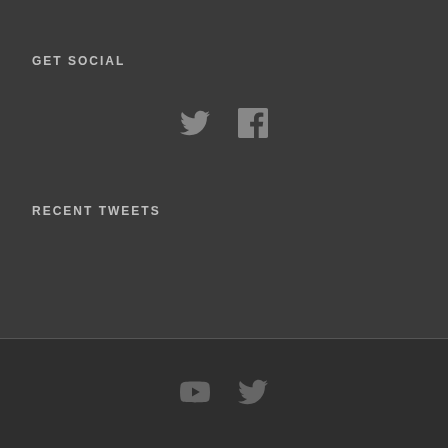GET SOCIAL
[Figure (illustration): Twitter bird icon and Facebook 'f' icon side by side, dark grey on dark background]
RECENT TWEETS
[Figure (illustration): YouTube play button icon and Twitter bird icon side by side in footer, darker background]